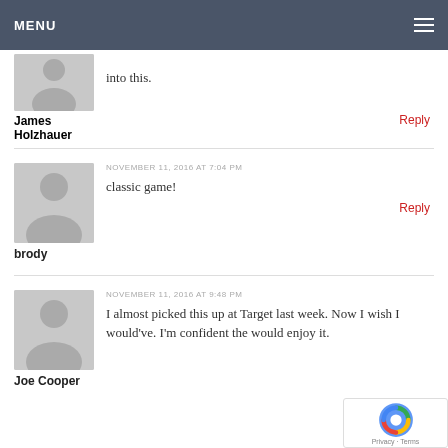MENU
into this.
James Holzhauer
Reply
NOVEMBER 11, 2016 AT 7:04 PM
classic game!
brody
Reply
NOVEMBER 11, 2016 AT 9:48 PM
I almost picked this up at Target last week. Now I wish I would've. I'm confident the would enjoy it.
Joe Cooper